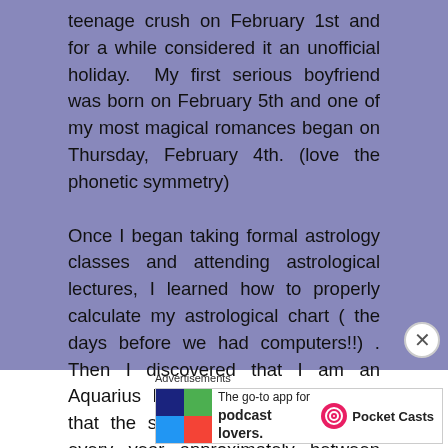teenage crush on February 1st and for a while considered it an unofficial holiday.  My first serious boyfriend was born on February 5th and one of my most magical romances began on Thursday, February 4th. (love the phonetic symmetry)

Once I began taking formal astrology classes and attending astrological lectures, I learned how to properly calculate my astrological chart ( the days before we had computers!!) . Then I discovered that I am an Aquarius Rising. It basically means that the sun enters my first house every year approximately between February 4th and February 6th. For the astrologers reading this, I
Advertisements
[Figure (other): Advertisement banner for Pocket Casts app: 'The go-to app for podcast lovers.' with Pocket Casts logo on the right and a colorful quadrant icon on the left.]